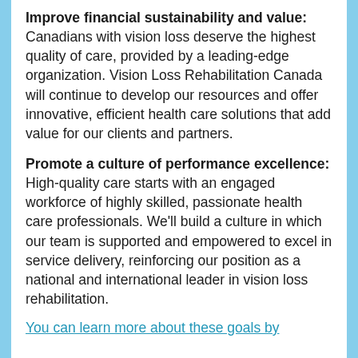Improve financial sustainability and value: Canadians with vision loss deserve the highest quality of care, provided by a leading-edge organization. Vision Loss Rehabilitation Canada will continue to develop our resources and offer innovative, efficient health care solutions that add value for our clients and partners.
Promote a culture of performance excellence: High-quality care starts with an engaged workforce of highly skilled, passionate health care professionals. We'll build a culture in which our team is supported and empowered to excel in service delivery, reinforcing our position as a national and international leader in vision loss rehabilitation.
You can learn more about these goals by